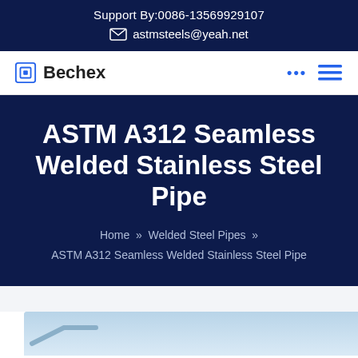Support By:0086-13569929107
astmsteels@yeah.net
[Figure (logo): Bechex logo with square bracket icon]
ASTM A312 Seamless Welded Stainless Steel Pipe
Home » Welded Steel Pipes » ASTM A312 Seamless Welded Stainless Steel Pipe
[Figure (photo): Partial view of stainless steel pipes, light blue background]